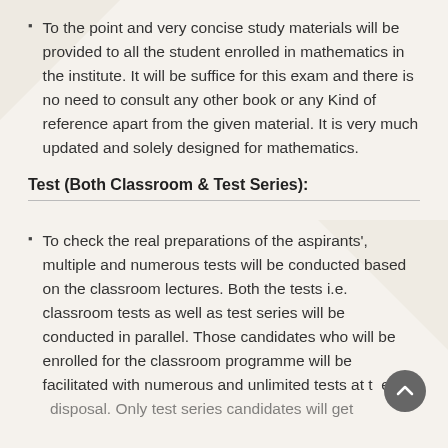To the point and very concise study materials will be provided to all the student enrolled in mathematics in the institute. It will be suffice for this exam and there is no need to consult any other book or any Kind of reference apart from the given material. It is very much updated and solely designed for mathematics.
Test (Both Classroom & Test Series):
To check the real preparations of the aspirants', multiple and numerous tests will be conducted based on the classroom lectures. Both the tests i.e. classroom tests as well as test series will be conducted in parallel. Those candidates who will be enrolled for the classroom programme will be facilitated with numerous and unlimited tests at the disposal. Only test series candidates will get